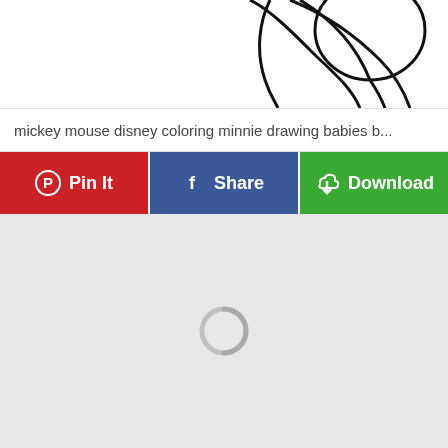[Figure (illustration): Partial view of a Mickey/Minnie Mouse Disney coloring page drawing showing curved black lines on white background]
mickey mouse disney coloring minnie drawing babies b...
[Figure (infographic): Three action buttons: red 'Pin It' button with Pinterest icon, blue 'Share' button with Facebook icon, green 'Download' button with download cloud icon]
[Figure (screenshot): Light gray loading area with a circular spinner/loading indicator in the center]